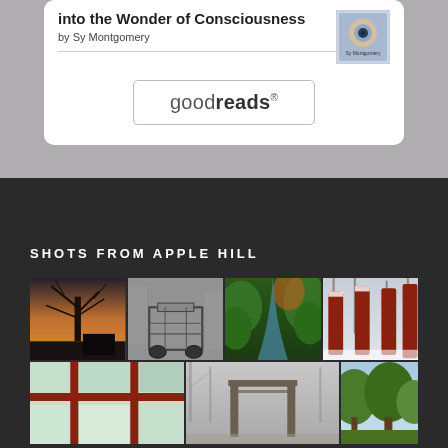into the Wonder of Consciousness
by Sy Montgomery
[Figure (logo): Goodreads button/logo with rounded rectangle border]
SHOTS FROM APPLE HILL
[Figure (photo): Grid of 7 photos from Apple Hill — row 1: bare tree at sunset, black and white covered wagon/structure, green forest path, red wooden fence posts in snow; row 2: red grid window with view, bare tree in fog, green trees]
[Figure (photo): Book cover thumbnail for the book about consciousness by Sy Montgomery]